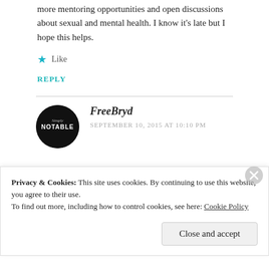more mentoring opportunities and open discussions about sexual and mental health. I know it’s late but I hope this helps.
★ Like
REPLY
FreeBryd
SEPTEMBER 10, 2015 AT 10:10 PM
Privacy & Cookies: This site uses cookies. By continuing to use this website, you agree to their use. To find out more, including how to control cookies, see here: Cookie Policy
Close and accept